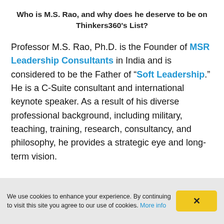Who is M.S. Rao, and why does he deserve to be on Thinkers360's List?
Professor M.S. Rao, Ph.D. is the Founder of MSR Leadership Consultants in India and is considered to be the Father of “Soft Leadership.” He is a C-Suite consultant and international keynote speaker. As a result of his diverse professional background, including military, teaching, training, research, consultancy, and philosophy, he provides a strategic eye and long-term vision.
We use cookies to enhance your experience. By continuing to visit this site you agree to our use of cookies. More info